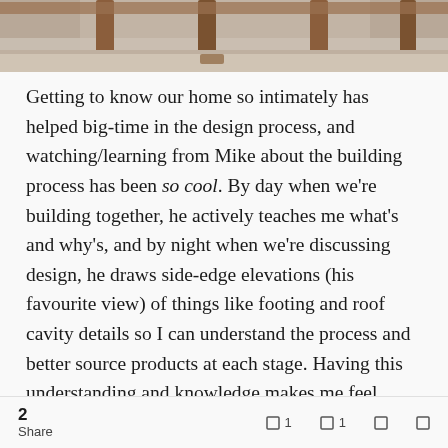[Figure (photo): Interior photo of a house attic or roof structure showing wooden beams/rafters from below, with light-colored insulation or flooring visible]
Getting to know our home so intimately has helped big-time in the design process, and watching/learning from Mike about the building process has been so cool. By day when we're building together, he actively teaches me what's and why's, and by night when we're discussing design, he draws side-edge elevations (his favourite view) of things like footing and roof cavity details so I can understand the process and better source products at each stage. Having this understanding and knowledge makes me feel proud, and it's empowering a design that stems
2  Share   □ 1   □ 1   □   □